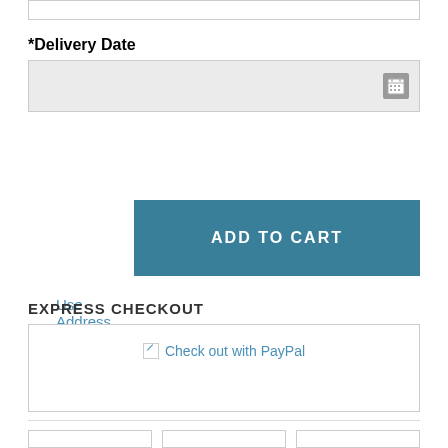*Delivery Date
[Figure (screenshot): Date input field with calendar icon on the right, light gray background]
Use Address Book
[Figure (screenshot): ADD TO CART button in teal/dark cyan color with white uppercase text]
EXPRESS CHECKOUT
[Figure (screenshot): PayPal checkout box with broken image icon and 'Check out with PayPal' link text in blue]